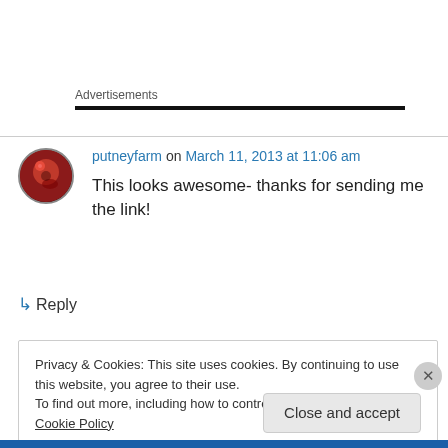Advertisements
putneyfarm on March 11, 2013 at 11:06 am
This looks awesome- thanks for sending me the link!
↳ Reply
Privacy & Cookies: This site uses cookies. By continuing to use this website, you agree to their use.
To find out more, including how to control cookies, see here: Cookie Policy